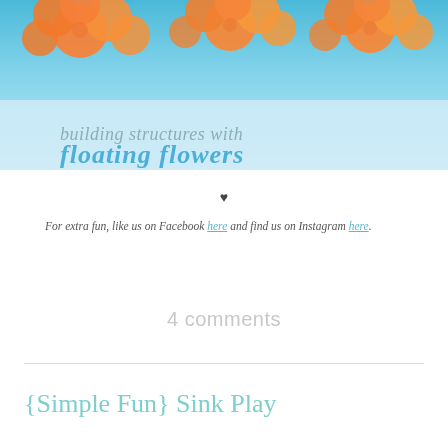[Figure (photo): Hero banner image showing orange foam/sponge flowers against a blue water background with text overlay reading 'building structures with floating flowers']
♥
For extra fun, like us on Facebook here and find us on Instagram here.
4 comments
{Simple Fun} Sink Play